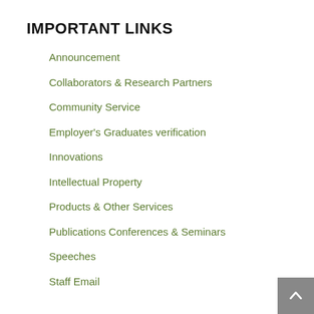IMPORTANT LINKS
Announcement
Collaborators & Research Partners
Community Service
Employer's Graduates verification
Innovations
Intellectual Property
Products & Other Services
Publications Conferences & Seminars
Speeches
Staff Email